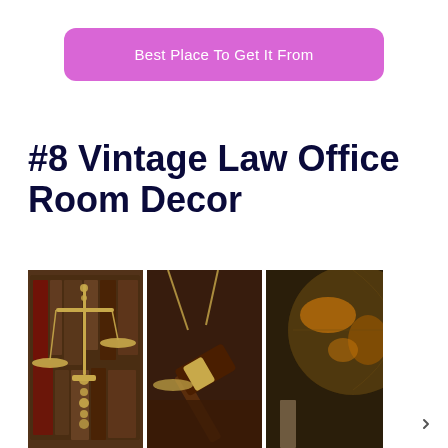Best Place To Get It From
#8 Vintage Law Office Room Decor
[Figure (photo): Three-panel decorative canvas art showing law office items: left panel shows brass scales of justice, middle panel shows a wooden gavel with brass band, right panel shows a vintage globe with an hourglass, all with dark brown/mahogany tones and blurred bookshelf background]